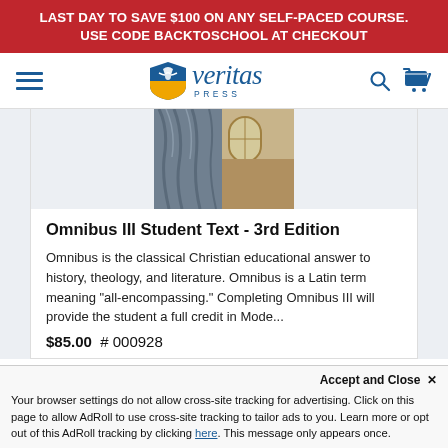LAST DAY TO SAVE $100 ON ANY SELF-PACED COURSE. USE CODE BACKTOSCHOOL AT CHECKOUT
[Figure (logo): Veritas Press logo with shield and eagle, italic serif wordmark 'veritas' and 'PRESS' below]
[Figure (photo): Partial view of a classical statue draped in cloth with ornate stone building architecture in background]
Omnibus III Student Text - 3rd Edition
Omnibus is the classical Christian educational answer to history, theology, and literature. Omnibus is a Latin term meaning "all-encompassing." Completing Omnibus III will provide the student a full credit in Mode...
$85.00  # 000928
Accept and Close ✕
Your browser settings do not allow cross-site tracking for advertising. Click on this page to allow AdRoll to use cross-site tracking to tailor ads to you. Learn more or opt out of this AdRoll tracking by clicking here. This message only appears once.